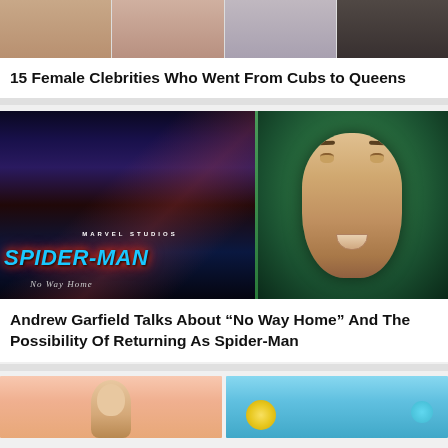[Figure (photo): Four celebrity headshot images in a horizontal strip at the top of the card]
15 Female Clebrities Who Went From Cubs to Queens
[Figure (photo): Spider-Man: No Way Home movie poster combined with Andrew Garfield portrait photo]
Andrew Garfield Talks About “No Way Home” And The Possibility Of Returning As Spider-Man
[Figure (illustration): Two partial images at the bottom: left shows an illustrated female figure, right shows a cartoon underwater scene]